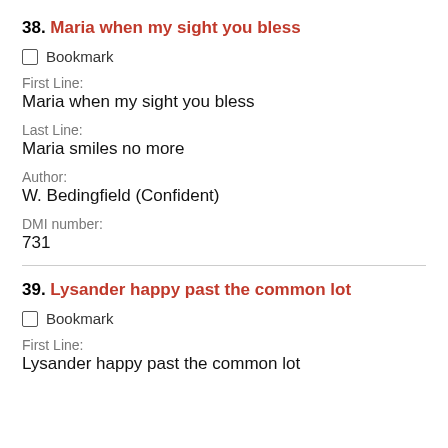38. Maria when my sight you bless
☐ Bookmark
First Line:
Maria when my sight you bless
Last Line:
Maria smiles no more
Author:
W. Bedingfield (Confident)
DMI number:
731
39. Lysander happy past the common lot
☐ Bookmark
First Line:
Lysander happy past the common lot